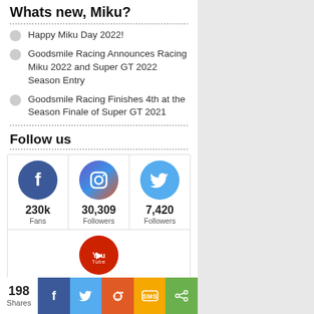Whats new, Miku?
Happy Miku Day 2022!
Goodsmile Racing Announces Racing Miku 2022 and Super GT 2022 Season Entry
Goodsmile Racing Finishes 4th at the Season Finale of Super GT 2021
Follow us
[Figure (infographic): Social media follow counts: Facebook 230k Fans, Instagram 30,309 Followers, Twitter 7,420 Followers, YouTube 56,500 Subscribers]
198 Shares  [Facebook] [Twitter] [Reddit] [SMS] [Share]